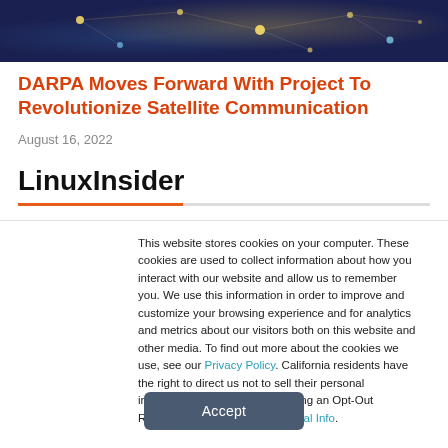[Figure (photo): Dark blue/purple neural network background image with glowing yellow and blue nodes]
DARPA Moves Forward With Project To Revolutionize Satellite Communication
August 16, 2022
LinuxInsider
This website stores cookies on your computer. These cookies are used to collect information about how you interact with our website and allow us to remember you. We use this information in order to improve and customize your browsing experience and for analytics and metrics about our visitors both on this website and other media. To find out more about the cookies we use, see our Privacy Policy. California residents have the right to direct us not to sell their personal information to third parties by filing an Opt-Out Request: Do Not Sell My Personal Info.